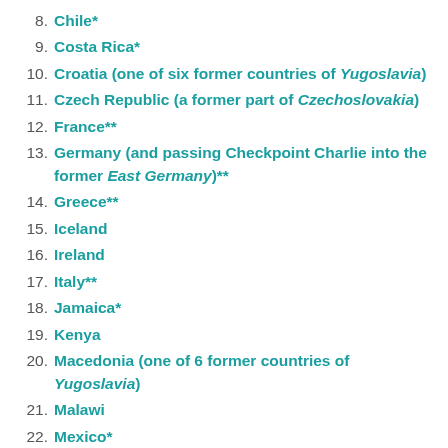8. Chile*
9. Costa Rica*
10. Croatia (one of six former countries of Yugoslavia)
11. Czech Republic (a former part of Czechoslovakia)
12. France**
13. Germany (and passing Checkpoint Charlie into the former East Germany)**
14. Greece**
15. Iceland
16. Ireland
17. Italy**
18. Jamaica*
19. Kenya
20. Macedonia (one of 6 former countries of Yugoslavia)
21. Malawi
22. Mexico*
23. Montenegro (one of 6 former countries of